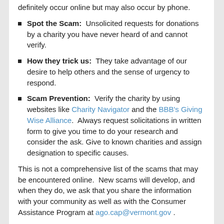definitely occur online but may also occur by phone.
Spot the Scam: Unsolicited requests for donations by a charity you have never heard of and cannot verify.
How they trick us: They take advantage of our desire to help others and the sense of urgency to respond.
Scam Prevention: Verify the charity by using websites like Charity Navigator and the BBB's Giving Wise Alliance. Always request solicitations in written form to give you time to do your research and consider the ask. Give to known charities and assign designation to specific causes.
This is not a comprehensive list of the scams that may be encountered online. New scams will develop, and when they do, we ask that you share the information with your community as well as with the Consumer Assistance Program at ago.cap@vermont.gov .